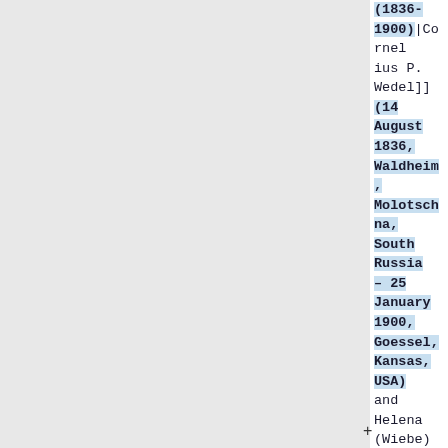(1836-1900)|Cornelius P. Wedel]] (14 August 1836, Waldheim, Molotschna, South Russia – 25 January 1900, Goessel, Kansas, USA) and Helena (Wiebe) Wedel (2 September 1840, Margenau, Molotschna, South Russia – 28 March 1866,